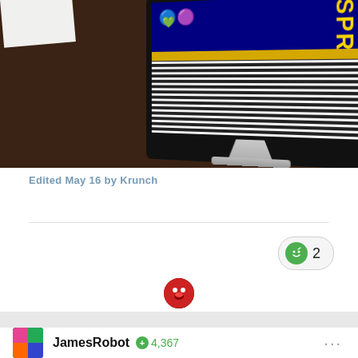[Figure (photo): A photo showing a dark wooden table with a monitor/TV screen displaying a retro video game. The screen shows a game with black and white horizontal stripes at the bottom, a yellow bar, and colorful game sprites. A white book or paper is visible in the top-left corner. The monitor has a silver stand.]
Edited May 16 by Krunch
[Figure (other): A green smiley face reaction emoji button showing the number 2]
[Figure (other): A small circular user avatar icon in red/dark colors with a face emoji]
JamesRobot
4,367